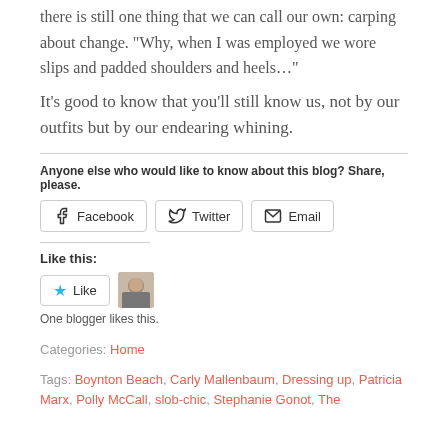there is still one thing that we can call our own: carping about change. “Why, when I was employed we wore slips and padded shoulders and heels…”
It’s good to know that you’ll still know us, not by our outfits but by our endearing whining.
Anyone else who would like to know about this blog? Share, please.
[Figure (other): Social share buttons: Facebook, Twitter, Email]
Like this:
[Figure (other): Like button with star icon and blogger avatar thumbnail]
One blogger likes this.
Categories: Home
Tags: Boynton Beach, Carly Mallenbaum, Dressing up, Patricia Marx, Polly McCall, slob-chic, Stephanie Gonot, The